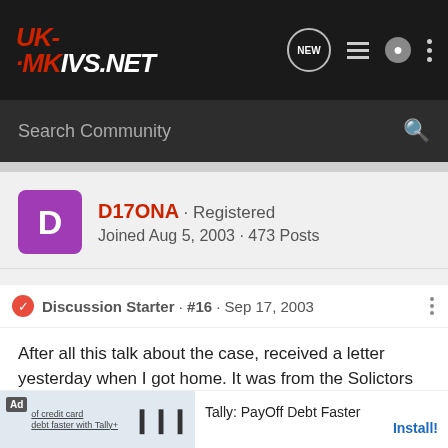UK-MKVS.NET
Search Community
D17ONA · Registered
Joined Aug 5, 2003 · 473 Posts
Discussion Starter · #16 · Sep 17, 2003
After all this talk about the case, received a letter yesterday when I got home. It was from the Solictors advising me that the 3rd Party have increased their offer to 75/25 in my favour.

Did they not understand my last letter, I wouldn't receive anything less than 100% in my favour for an out of court settlement lol.

The figh
[Figure (screenshot): Advertisement banner: Ad label, credit card debt image with character, Tally bar chart icon, text 'Tally: PayOff Debt Faster', Install! link]